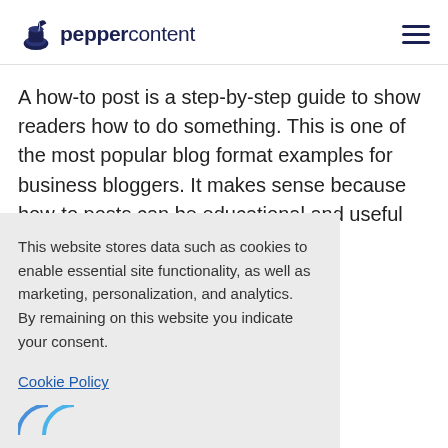peppercontent
A how-to post is a step-by-step guide to show readers how to do something. This is one of the most popular blog format examples for business bloggers. It makes sense because how-to posts can be educational and useful for driving traffic ...e generally ...ting the ...that they ...ngthen ...cepts with ...nstructional
This website stores data such as cookies to enable essential site functionality, as well as marketing, personalization, and analytics. By remaining on this website you indicate your consent.
Cookie Policy